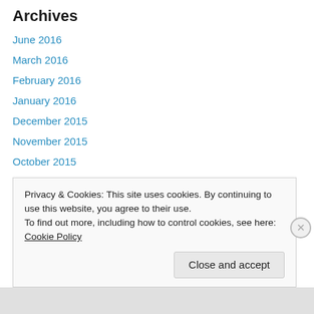Archives
June 2016
March 2016
February 2016
January 2016
December 2015
November 2015
October 2015
September 2015
August 2015
July 2015
June 2015
May 2015
Privacy & Cookies: This site uses cookies. By continuing to use this website, you agree to their use.
To find out more, including how to control cookies, see here: Cookie Policy
Close and accept